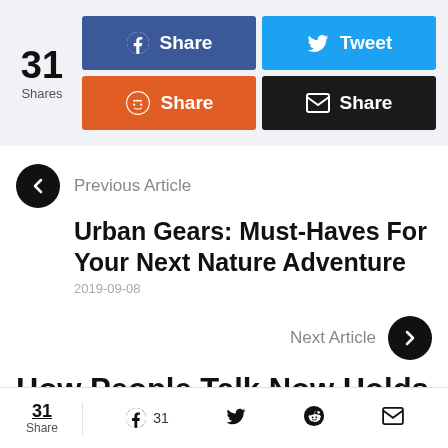31 Shares
[Figure (infographic): Social share buttons: Facebook Share (blue), Tweet (light blue), Reddit Share (orange), Email Share (black)]
[Figure (infographic): Previous Article navigation arrow button (left chevron, black circle)]
Previous Article
Urban Gears: Must-Haves For Your Next Nature Adventure
2019-09-08
Next Article
[Figure (infographic): Next Article navigation arrow button (right chevron, black circle)]
How People Talk Now Holds
31 Share  [Facebook] 31  [Twitter]  [Reddit]  [Email]